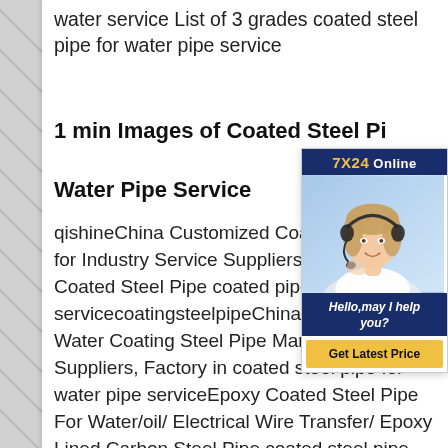water service List of 3 grades coated steel pipe for water pipe service
1 min Images of Coated Steel Pipe for Water Pipe Service
qishineChina Customized Coated Steel Pipe for Industry Service Suppliers Wholesale Coated Steel Pipe coated pipe for water pipe servicecoatingsteelpipeChina Low Drinking Water Coating Steel Pipe Manufacturers, Suppliers, Factory in coated steel pipe for water pipe serviceEpoxy Coated Steel Pipe For Water/oil/ Electrical Wire Transfer/ Epoxy Lined Carbon Steel Pipe coated steel pipe for water pipe servicehaihaopipingWhat's the plastic coated steel pipe? ASTM A234
[Figure (photo): Customer service representative with headset. Chat widget with '7X24 Online' header bar, photo of woman with headset, 'Hello, may I help you?' message, and 'Get Latest Price' button.]